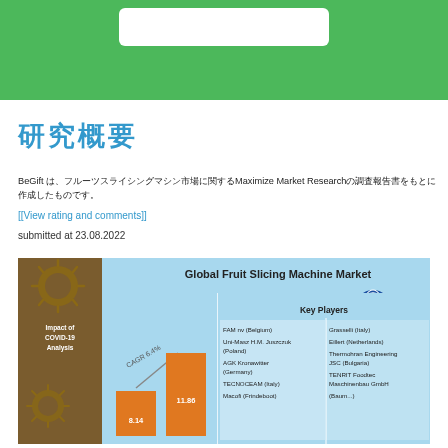[Figure (illustration): Green banner with white rounded rectangle box in the center top]
研究概要
BeGiftは、フルーツスライシングマシン市場に関するMaximize Market Researchの調査報告書です。
[[View rating and comments]]
submitted at 23.08.2022
[Figure (infographic): Global Fruit Slicing Machine Market infographic showing COVID-19 impact analysis, CAGR 6.4%, bar chart with values 8.14 and 11.86, Key Players table listing FAM nv (Belgium), Uni-Masz H.M. Juszczuk (Poland), AGK Kronawitter (Germany), TECNOCEAM (Italy), and Grasselli (Italy), Eillert (Netherlands), Thermohran Engineering JSC (Bulgaria), TENRIT Foodtec Maschinenbau GmbH. Maximize Market Research PVT. LTD. logo shown.]